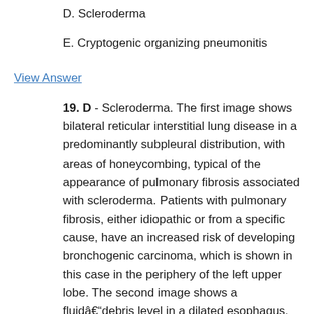D. Scleroderma
E. Cryptogenic organizing pneumonitis
View Answer
19. D - Scleroderma. The first image shows bilateral reticular interstitial lung disease in a predominantly subpleural distribution, with areas of honeycombing, typical of the appearance of pulmonary fibrosis associated with scleroderma. Patients with pulmonary fibrosis, either idiopathic or from a specific cause, have an increased risk of developing bronchogenic carcinoma, which is shown in this case in the periphery of the left upper lobe. The second image shows a fluidâ€”debris level in a dilated esophagus, another feature of scleroderma.